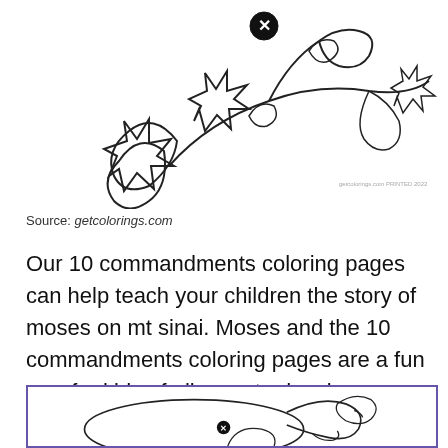[Figure (illustration): Line drawing coloring page of a decorative floral/plant design with an X marker button overlay, and a small copyright watermark text at bottom right of the image.]
Source: getcolorings.com
Our 10 commandments coloring pages can help teach your children the story of moses on mt sinai. Moses and the 10 commandments coloring pages are a fun way for kids of all ages to develop creativity, focus, motor skills and color recognition.
[Figure (illustration): Line drawing coloring page showing a figure (possibly a manatee or whale-like creature) with an X marker button overlay, inside a purple-bordered frame.]